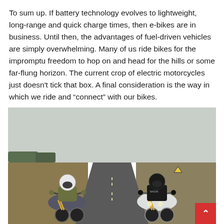To sum up. If battery technology evolves to lightweight, long-range and quick charge times, then e-bikes are in business. Until then, the advantages of fuel-driven vehicles are simply overwhelming. Many of us ride bikes for the impromptu freedom to hop on and head for the hills or some far-flung horizon. The current crop of electric motorcycles just doesn't tick that box. A final consideration is the way in which we ride and “connect” with our bikes.
[Figure (photo): Two motorcyclists riding sport/adventure motorcycles toward the camera on an open road. The rider on the left is on a gray/silver adventure bike wearing a white helmet and olive jacket. The rider on the right is on a white sport bike wearing a black helmet and black leather jacket. Road stretches behind them through open farmland under an overcast sky.]